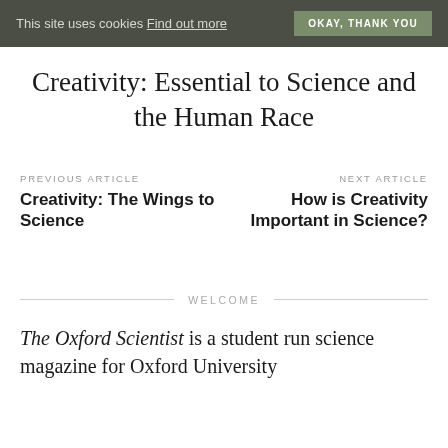This site uses cookies Find out more   OKAY, THANK YOU
Creativity: Essential to Science and the Human Race
PREVIOUS ARTICLE
Creativity: The Wings to Science
NEXT ARTICLE
How is Creativity Important in Science?
WELCOME
The Oxford Scientist is a student run science magazine for Oxford University ...